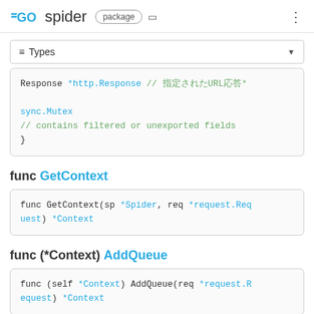GO spider package
≡ Types
Response *http.Response    // 指定されたURLの応答*

sync.Mutex
// contains filtered or unexported fields
}
func GetContext
func GetContext(sp *Spider, req *request.Request) *Context
func (*Context) AddQueue
func (self *Context) AddQueue(req *request.Request) *Context